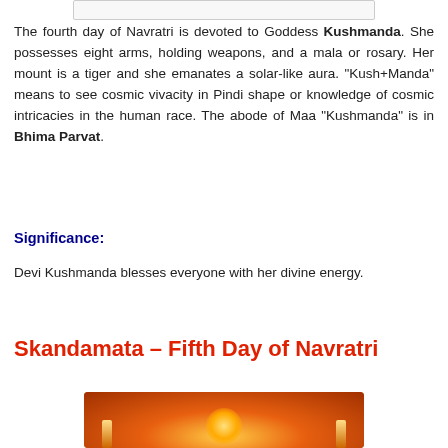[Figure (photo): Top image placeholder — partially visible decorative image from previous section]
The fourth day of Navratri is devoted to Goddess Kushmanda. She possesses eight arms, holding weapons, and a mala or rosary. Her mount is a tiger and she emanates a solar-like aura. "Kush+Manda" means to see cosmic vivacity in Pindi shape or knowledge of cosmic intricacies in the human race. The abode of Maa "Kushmanda" is in Bhima Parvat.
Significance:
Devi Kushmanda blesses everyone with her divine energy.
Skandamata – Fifth Day of Navratri
[Figure (photo): Orange/red decorative image of diyas and sacred lamps for Skandamata section]